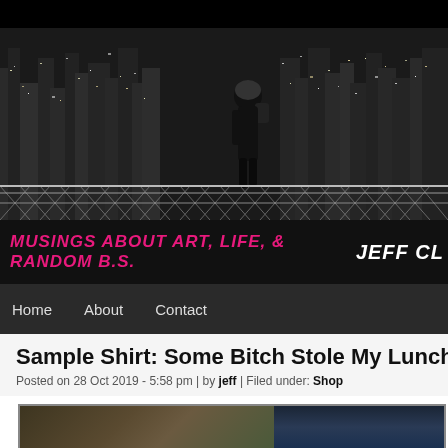[Figure (photo): Black and white cityscape at night with a person wearing a backpack and helmet standing on a bridge railing, city lights visible in the background]
MUSINGS ABOUT ART, LIFE, & RANDOM B.S.  JEFF CL
Home   About   Contact
Sample Shirt: Some Bitch Stole My Lunch Mon
Posted on 28 Oct 2019 - 5:58 pm | by jeff | Filed under: Shop
[Figure (photo): Partial view of a t-shirt or product image, bottom portion cut off]